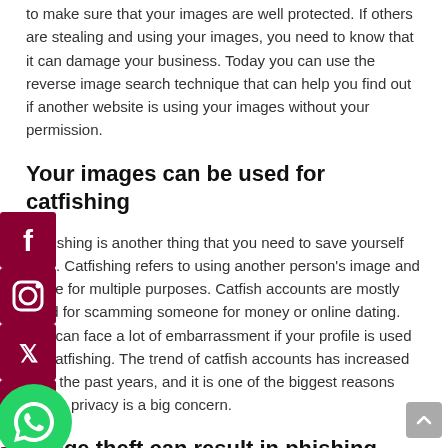to make sure that your images are well protected. If others are stealing and using your images, you need to know that it can damage your business. Today you can use the reverse image search technique that can help you find out if another website is using your images without your permission.
Your images can be used for catfishing
Catfishing is another thing that you need to save yourself from. Catfishing refers to using another person's image and name for multiple purposes. Catfish accounts are mostly used for scamming someone for money or online dating. You can face a lot of embarrassment if your profile is used for catfishing. The trend of catfish accounts has increased over the past years, and it is one of the biggest reasons image privacy is a big concern.
Image theft can result in phishing attempts